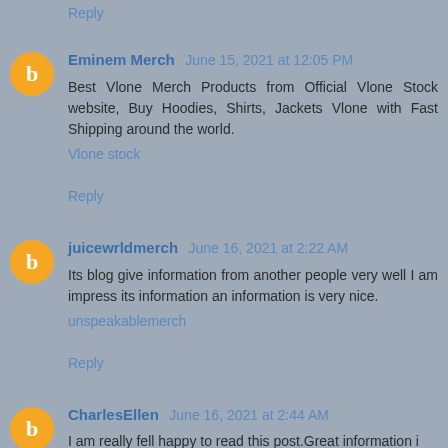Reply
Eminem Merch June 15, 2021 at 12:05 PM
Best Vlone Merch Products from Official Vlone Stock website, Buy Hoodies, Shirts, Jackets Vlone with Fast Shipping around the world.
Vlone stock
Reply
juicewrldmerch June 16, 2021 at 2:22 AM
Its blog give information from another people very well I am impress its information an information is very nice.
unspeakablemerch
Reply
CharlesEllen June 16, 2021 at 2:44 AM
I am really fell happy to read this post.Great information i